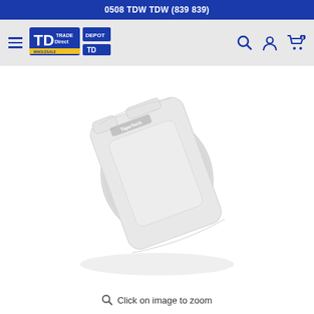0508 TDW TDW (839 839)
[Figure (logo): Trade Direct Wholesale logo with TD monogram and yellow/blue branding]
[Figure (photo): TapeTech brand white/light grey plastic drywall skimming blade/squeegee tool photographed on white background at an angle]
Click on image to zoom